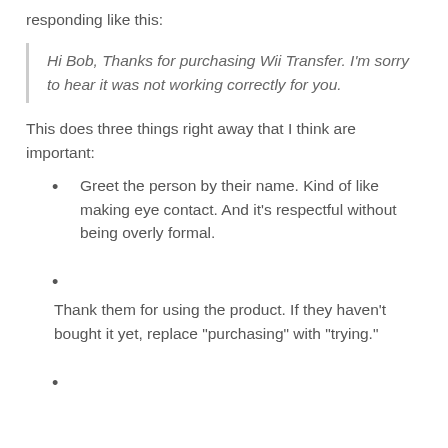responding like this:
Hi Bob, Thanks for purchasing Wii Transfer. I'm sorry to hear it was not working correctly for you.
This does three things right away that I think are important:
Greet the person by their name. Kind of like making eye contact. And it's respectful without being overly formal.
Thank them for using the product. If they haven't bought it yet, replace "purchasing" with "trying."